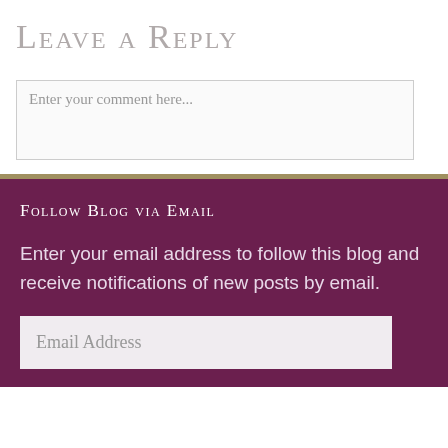Leave a Reply
Enter your comment here...
Follow Blog via Email
Enter your email address to follow this blog and receive notifications of new posts by email.
Email Address